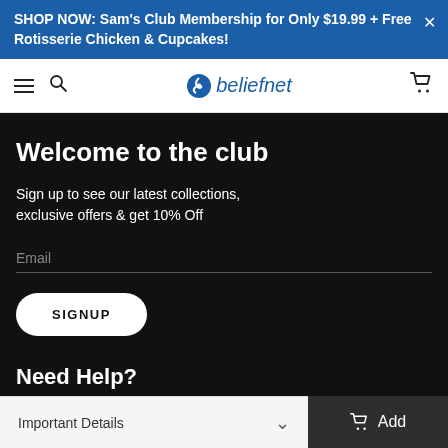SHOP NOW: Sam's Club Membership for Only $19.99 + Free Rotisserie Chicken & Cupcakes!
[Figure (logo): Beliefnet logo with blue spiral icon and text 'beliefnet', navigation bar with hamburger menu, search icon, and cart icon]
Welcome to the club
Sign up to see our latest collections, exclusive offers & get 10% Off
Email
SIGNUP
Need Help?
Important Details
Add